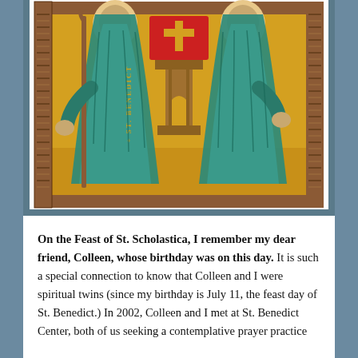[Figure (illustration): Religious icon painting depicting St. Benedict (left) and St. Scholastica (right) in teal/green robes standing on a gold background. St. Benedict holds a staff. Between them is a red book with a cross on a golden lectern. The icon has an ornate brown decorative border with the names 'ST. BENEDICT' and 'ST. SCHOLASTICA' written vertically in gold letters on the sides.]
On the Feast of St. Scholastica, I remember my dear friend, Colleen, whose birthday was on this day. It is such a special connection to know that Colleen and I were spiritual twins (since my birthday is July 11, the feast day of St. Benedict.) In 2002, Colleen and I met at St. Benedict Center, both of us seeking a contemplative prayer practice